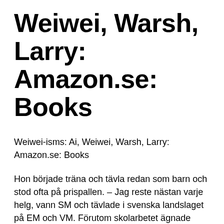Weiwei, Warsh, Larry: Amazon.se: Books
Weiwei-isms: Ai, Weiwei, Warsh, Larry: Amazon.se: Books
Hon började träna och tävla redan som barn och stod ofta på prispallen. – Jag reste nästan varje helg, vann SM och tävlade i svenska landslaget på EM och VM. Förutom skolarbetet ägnade Maria all tid åt dansen. Maria Linden gav 361 personer Karta. Maria Lindén 30 år. Saxofongatan 16, 1201 42139